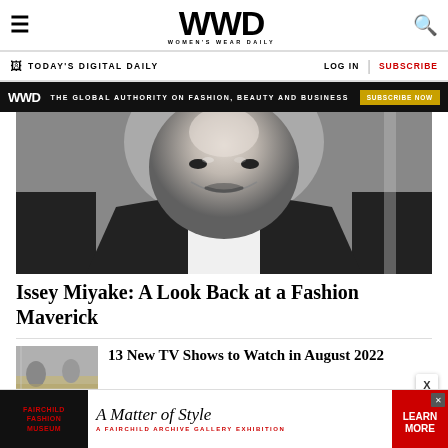WWD — Women's Wear Daily
TODAY'S DIGITAL DAILY | LOG IN | SUBSCRIBE
WWD — THE GLOBAL AUTHORITY ON FASHION, BEAUTY AND BUSINESS — SUBSCRIBE NOW
[Figure (photo): Black and white close-up portrait photo of Issey Miyake smiling, wearing a dark jacket with white turtleneck]
Issey Miyake: A Look Back at a Fashion Maverick
[Figure (photo): Thumbnail photo for TV shows article showing two people outdoors]
13 New TV Shows to Watch in August 2022
A Matter of Style — A Fairchild Archive Gallery Exhibition — Fairchild Fashion Museum — LEARN MORE